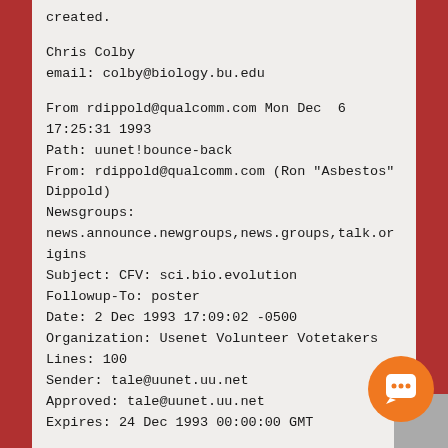created.
Chris Colby
email: colby@biology.bu.edu
From rdippold@qualcomm.com Mon Dec  6 17:25:31 1993
Path: uunet!bounce-back
From: rdippold@qualcomm.com (Ron "Asbestos" Dippold)
Newsgroups:
news.announce.newgroups,news.groups,talk.origins
Subject: CFV: sci.bio.evolution
Followup-To: poster
Date: 2 Dec 1993 17:09:02 -0500
Organization: Usenet Volunteer Votetakers
Lines: 100
Sender: tale@uunet.uu.net
Approved: tale@uunet.uu.net
Expires: 24 Dec 1993 00:00:00 GMT